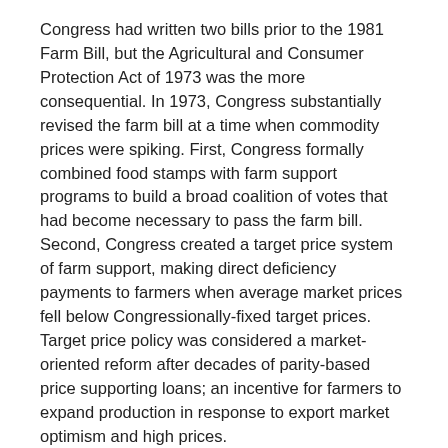Congress had written two bills prior to the 1981 Farm Bill, but the Agricultural and Consumer Protection Act of 1973 was the more consequential. In 1973, Congress substantially revised the farm bill at a time when commodity prices were spiking. First, Congress formally combined food stamps with farm support programs to build a broad coalition of votes that had become necessary to pass the farm bill. Second, Congress created a target price system of farm support, making direct deficiency payments to farmers when average market prices fell below Congressionally-fixed target prices. Target price policy was considered a market-oriented reform after decades of parity-based price supporting loans; an incentive for farmers to expand production in response to export market optimism and high prices.
Farmers responded to the production incentives created by higher prices and the new target price policy, as well as encouragement from the Nixon Administration. They increased the acres planted to the supported crops. Figure 1 illustrates those acreage increases, especially for wheat, corn